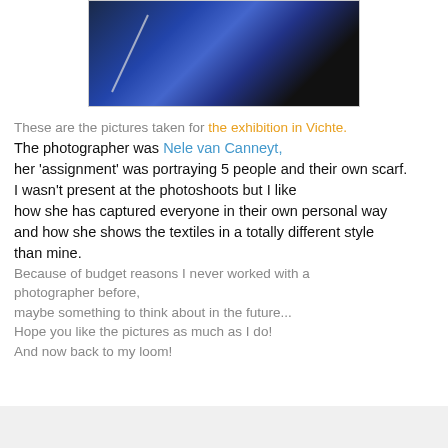[Figure (photo): Close-up photo of blue knitted textile/scarf with needle, dark background]
These are the pictures taken for the exhibition in Vichte.
The photographer was Nele van Canneyt,
her 'assignment' was portraying 5 people and their own scarf.
I wasn't present at the photoshoots but I like
how she has captured everyone in their own personal way
and how she shows the textiles in a totally different style
than mine.
Because of budget reasons I never worked with a
photographer before,
maybe something to think about in the future...
Hope you like the pictures as much as I do!
And now back to my loom!